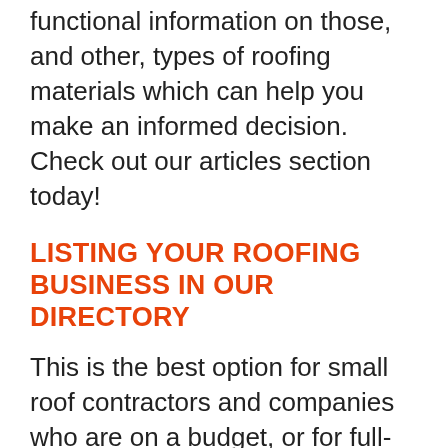functional information on those, and other, types of roofing materials which can help you make an informed decision. Check out our articles section today!
LISTING YOUR ROOFING BUSINESS IN OUR DIRECTORY
This is the best option for small roof contractors and companies who are on a budget, or for full-service home improvement firms that only need a few roofing leads as they also handle other types of projects. To get started, create an account and add your roofing company listing today. All you have to do is fill out the form and pay online to get